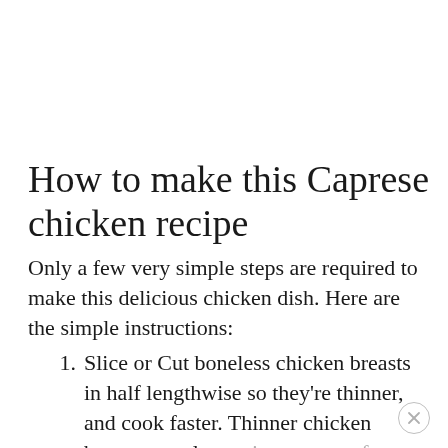How to make this Caprese chicken recipe
Only a few very simple steps are required to make this delicious chicken dish. Here are the simple instructions:
Slice or Cut boneless chicken breasts in half lengthwise so they're thinner, and cook faster. Thinner chicken breasts are also easier to gauge for doneness, and have more browned and crisped area to enjoy.